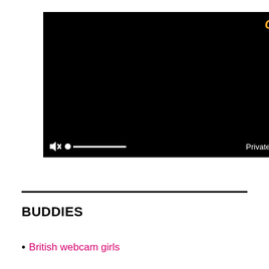[Figure (screenshot): Black video player window with a logo partially visible in top-right corner reading 'Ch' in orange/yellow italic font. Bottom control bar shows a mute icon, volume dot and slider bar on the left, and 'Private F' text on the right.]
BUDDIES
British webcam girls